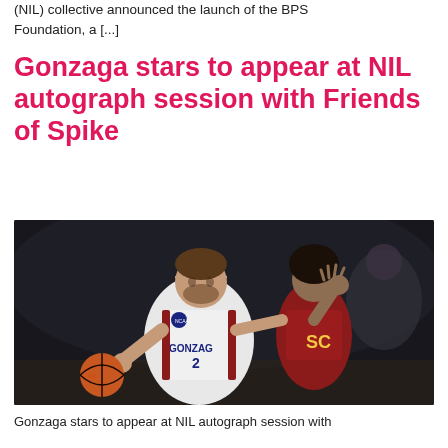(NIL) collective announced the launch of the BPS Foundation, a [...]
Gonzaga stars to appear at NIL autograph session with Friends of Spike
[Figure (photo): Basketball action photo showing a Gonzaga player in white uniform holding a basketball while being guarded by a USC player in red and gold uniform, during an NCAA tournament game.]
Gonzaga stars to appear at NIL autograph session with